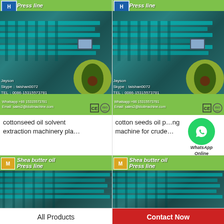[Figure (photo): Cottonseed oil solvent extraction machinery plant product card with Press line header, teal industrial machinery, avocado image, contact info, CE and ISO certifications]
cottonseed oil solvent extraction machinery pla…
[Figure (photo): Cotton seeds oil processing machine for crude product card with Press line header, teal industrial machinery, WhatsApp Online overlay, avocado image, CE and ISO certifications]
cotton seeds oil processing machine for crude…
[Figure (photo): Shea butter oil Press line product card - left, with teal/green industrial machinery]
[Figure (photo): Shea butter oil Press line product card - right, with teal/green industrial machinery]
All Products
Contact Now